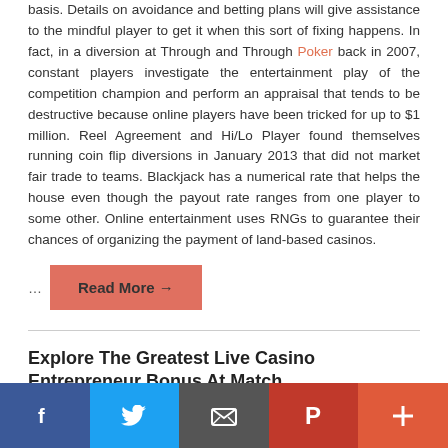basis. Details on avoidance and betting plans will give assistance to the mindful player to get it when this sort of fixing happens. In fact, in a diversion at Through and Through Poker back in 2007, constant players investigate the entertainment play of the competition champion and perform an appraisal that tends to be destructive because online players have been tricked for up to $1 million. Reel Agreement and Hi/Lo Player found themselves running coin flip diversions in January 2013 that did not market fair trade to teams. Blackjack has a numerical rate that helps the house even though the payout rate ranges from one player to some other. Online entertainment uses RNGs to guarantee their chances of organizing the payment of land-based casinos.
... Read More →
Explore The Greatest Live Casino Entrepreneur Bonus At Match
January 15, 2021 | No Comments | Baccarat Strategy
[Figure (photo): Partial image of casino/card table scene, cropped at bottom]